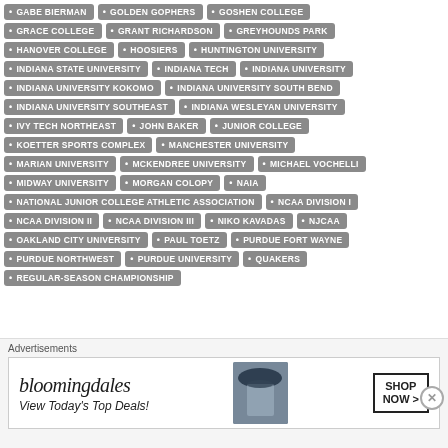GABE BIERMAN
GOLDEN GOPHERS
GOSHEN COLLEGE
GRACE COLLEGE
GRANT RICHARDSON
GREYHOUNDS PARK
HANOVER COLLEGE
HOOSIERS
HUNTINGTON UNIVERSITY
INDIANA STATE UNIVERSITY
INDIANA TECH
INDIANA UNIVERSITY
INDIANA UNIVERSITY KOKOMO
INDIANA UNIVERSITY SOUTH BEND
INDIANA UNIVERSITY SOUTHEAST
INDIANA WESLEYAN UNIVERSITY
IVY TECH NORTHEAST
JOHN BAKER
JUNIOR COLLEGE
KOETTER SPORTS COMPLEX
MANCHESTER UNIVERSITY
MARIAN UNIVERSITY
MCKENDREE UNIVERSITY
MICHAEL VOCHELLI
MIDWAY UNIVERSITY
MORGAN COLOPY
NAIA
NATIONAL JUNIOR COLLEGE ATHLETIC ASSOCIATION
NCAA DIVISION I
NCAA DIVISION II
NCAA DIVISION III
NIKO KAVADAS
NJCAA
OAKLAND CITY UNIVERSITY
PAUL TOETZ
PURDUE FORT WAYNE
PURDUE NORTHWEST
PURDUE UNIVERSITY
QUAKERS
REGULAR-SEASON CHAMPIONSHIP
Advertisements
[Figure (other): Bloomingdale's advertisement banner with logo, tagline 'View Today's Top Deals!' and 'SHOP NOW >' button]